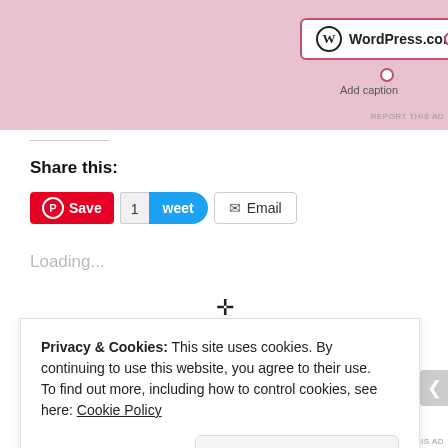[Figure (screenshot): WordPress.com advertisement banner with pink background, WordPress logo in a bordered box with 'Add caption' text below]
Share this:
[Figure (screenshot): Social sharing buttons row: Pinterest Save button (red), Tweet button with count 1 (blue), Email button (outlined)]
Loading...
Privacy & Cookies: This site uses cookies. By continuing to use this website, you agree to their use. To find out more, including how to control cookies, see here: Cookie Policy
Close and accept